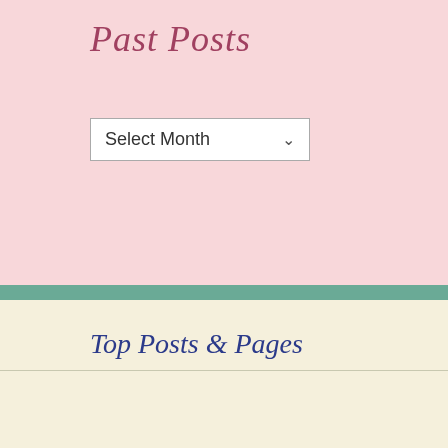Past Posts
Select Month
Top Posts & Pages
Sliding Skeleton Shaker Pop up card
Santa's Little Helper
Happy Birthday double Flower Collage
Balloons & Strips flipper card
"Nothin but Net" 🏀
Happy Birthday Bear-C4C500